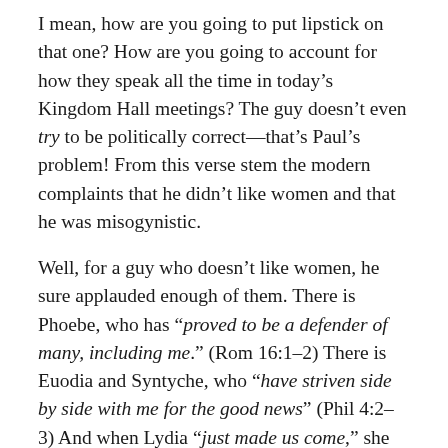I mean, how are you going to put lipstick on that one? How are you going to account for how they speak all the time in today’s Kingdom Hall meetings? The guy doesn’t even try to be politically correct—that’s Paul’s problem! From this verse stem the modern complaints that he didn’t like women and that he was misogynistic.
Well, for a guy who doesn’t like women, he sure applauded enough of them. There is Phoebe, who has “proved to be a defender of many, including me.” (Rom 16:1–2) There is Euodia and Syntyche, who “have striven side by side with me for the good news” (Phil 4:2–3) And when Lydia “just made us come,” she didn’t interject, “Not you Paul—you’re a misogynist.”